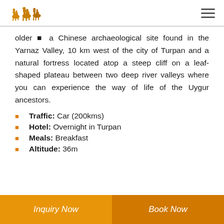[Logo: camel caravan] [Hamburger menu]
older – a Chinese archaeological site found in the Yarnaz Valley, 10 km west of the city of Turpan and a natural fortress located atop a steep cliff on a leaf-shaped plateau between two deep river valleys where you can experience the way of life of the Uygur ancestors.
Traffic: Car (200kms)
Hotel: Overnight in Turpan
Meals: Breakfast
Altitude: 36m
Inquiry Now   Book Now